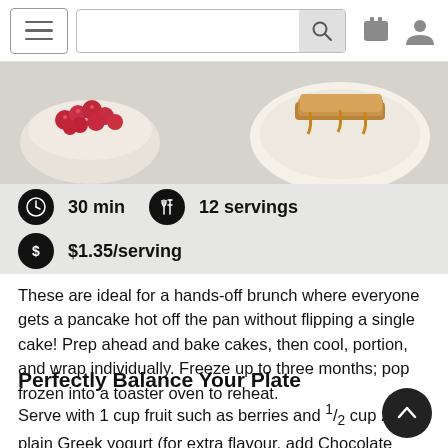Navigation bar with hamburger menu, search box, cart icon, and user icon
[Figure (photo): Food photo showing a bowl of raspberries and a plate with French toast or pancakes with syrup on a light surface]
30 min  12 servings  $1.35/serving
These are ideal for a hands-off brunch where everyone gets a pancake hot off the pan without flipping a single cake! Prep ahead and bake cakes, then cool, portion, and wrap individually. Freeze up to three months; pop frozen into a toaster oven to reheat.
Perfectly Balance Your Plate
Serve with 1 cup fruit such as berries and ½ cup 2% plain Greek yogurt (for extra flavour, add Chocolate